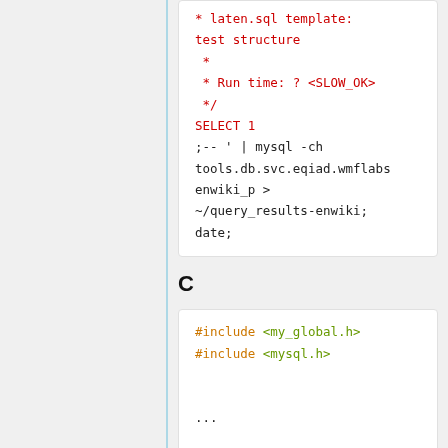* laten.sql template:
test structure
 *
 * Run time: ? <SLOW_OK>
 */
SELECT 1
;-- ' | mysql -ch tools.db.svc.eqiad.wmflabs enwiki_p >
~/query_results-enwiki;
date;
C
#include <my_global.h>
#include <mysql.h>

...

 char *host =
"tools.db.svc.eqiad.wmflabs";
 MYSQL *conn =